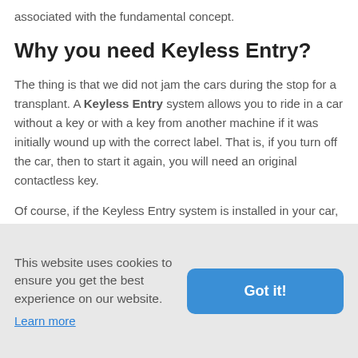associated with the fundamental concept.
Why you need Keyless Entry?
The thing is that we did not jam the cars during the stop for a transplant. A Keyless Entry system allows you to ride in a car without a key or with a key from another machine if it was initially wound up with the correct label. That is, if you turn off the car, then to start it again, you will need an original contactless key.
Of course, if the Keyless Entry system is installed in our car, then when you approach the car, the doors
This website uses cookies to ensure you get the best experience on our website.
Learn more
Got it!